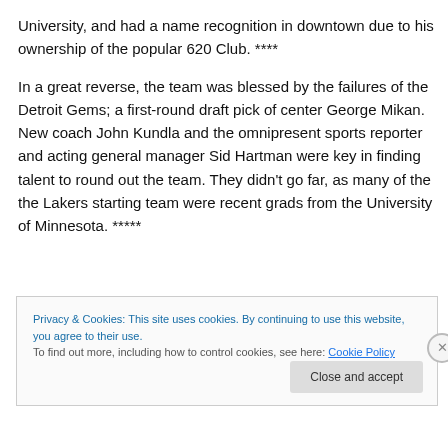University, and had a name recognition in downtown due to his ownership of the popular 620 Club. ****
In a great reverse, the team was blessed by the failures of the Detroit Gems; a first-round draft pick of center George Mikan. New coach John Kundla and the omnipresent sports reporter and acting general manager Sid Hartman were key in finding talent to round out the team. They didn't go far, as many of the the Lakers starting team were recent grads from the University of Minnesota. *****
Privacy & Cookies: This site uses cookies. By continuing to use this website, you agree to their use.
To find out more, including how to control cookies, see here: Cookie Policy